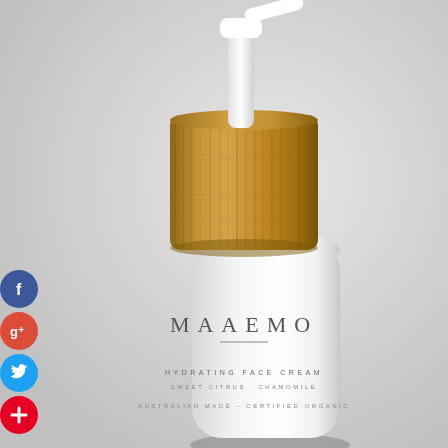[Figure (photo): White pump bottle with wooden bamboo cap containing MAAEMO Hydrating Face Cream, Sweet Citrus - Chamomile, Australian Made - Certified Organic, photographed on a light grey background with soft shadow]